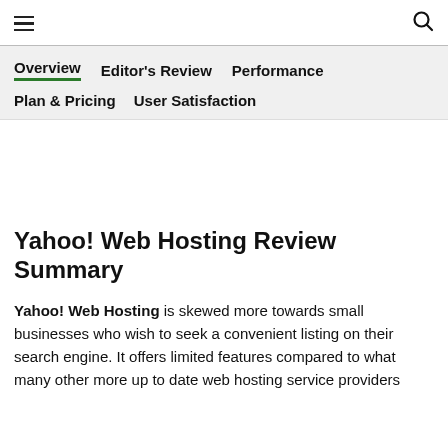☰  🔍
Overview  Editor's Review  Performance  Plan & Pricing  User Satisfaction
Yahoo! Web Hosting Review Summary
Yahoo! Web Hosting is skewed more towards small businesses who wish to seek a convenient listing on their search engine. It offers limited features compared to what many other more up to date web hosting service providers